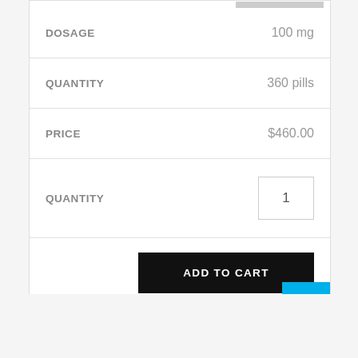| Field | Value |
| --- | --- |
| DOSAGE | 100 mg |
| QUANTITY | 360 pills |
| PRICE | $460.00 |
| QUANTITY | 1 |
ADD TO CART
Add to Wishlist